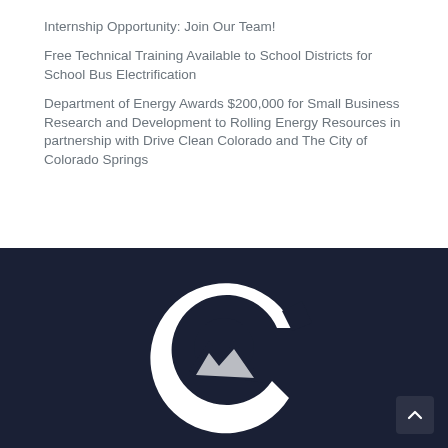Internship Opportunity: Join Our Team!
Free Technical Training Available to School Districts for School Bus Electrification
Department of Energy Awards $200,000 for Small Business Research and Development to Rolling Energy Resources in partnership with Drive Clean Colorado and The City of Colorado Springs
[Figure (logo): Drive Clean Colorado logo — white stylized C with mountain shape on dark navy background]